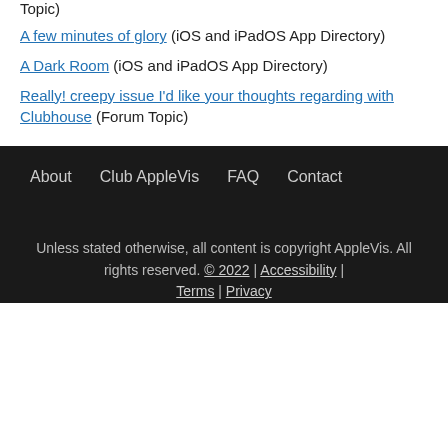Topic)
A few minutes of glory (iOS and iPadOS App Directory)
A Dark Room (iOS and iPadOS App Directory)
Really! creepy issue I'd like your thoughts regarding with Clubhouse (Forum Topic)
About | Club AppleVis | FAQ | Contact
Unless stated otherwise, all content is copyright AppleVis. All rights reserved. © 2022 | Accessibility | Terms | Privacy